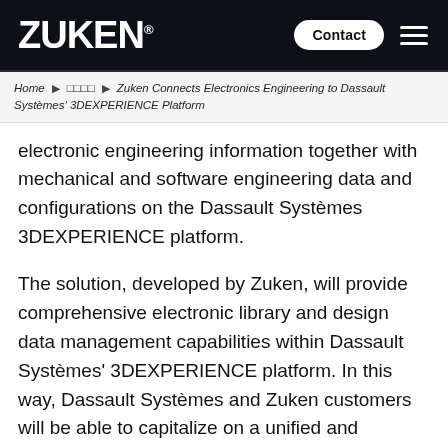ZUKEN® Contact ☰
Home ▶ □□□□ ▶ Zuken Connects Electronics Engineering to Dassault Systèmes' 3DEXPERIENCE Platform
electronic engineering information together with mechanical and software engineering data and configurations on the Dassault Systèmes 3DEXPERIENCE platform.
The solution, developed by Zuken, will provide comprehensive electronic library and design data management capabilities within Dassault Systèmes' 3DEXPERIENCE platform. In this way, Dassault Systèmes and Zuken customers will be able to capitalize on a unified and consistent interdisciplinary product lifecycle management solution that will provide